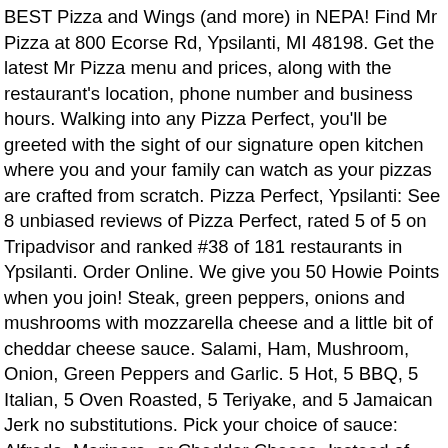BEST Pizza and Wings (and more) in NEPA! Find Mr Pizza at 800 Ecorse Rd, Ypsilanti, MI 48198. Get the latest Mr Pizza menu and prices, along with the restaurant's location, phone number and business hours. Walking into any Pizza Perfect, you'll be greeted with the sight of our signature open kitchen where you and your family can watch as your pizzas are crafted from scratch. Pizza Perfect, Ypsilanti: See 8 unbiased reviews of Pizza Perfect, rated 5 of 5 on Tripadvisor and ranked #38 of 181 restaurants in Ypsilanti. Order Online. We give you 50 Howie Points when you join! Steak, green peppers, onions and mushrooms with mozzarella cheese and a little bit of cheddar cheese sauce. Salami, Ham, Mushroom, Onion, Green Peppers and Garlic. 5 Hot, 5 BBQ, 5 Italian, 5 Oven Roasted, 5 Teriyake, and 5 Jamaican Jerk no substitutions. Pick your choice of sauce: Alfredo, Marinara, or Cheddar Cheese. Instead of pizza sauce, try it with BBQ sauce! See restaurant menus, reviews, hours, photos, maps and directions. 332 S Ford Blvd. Pizza Perfectta. Get directions, reviews and information for Pizza Perfect in Ypsilanti, MI. A Pizza chowdhound from Ypsilanti, MI tried it. Latest reviews, photos...